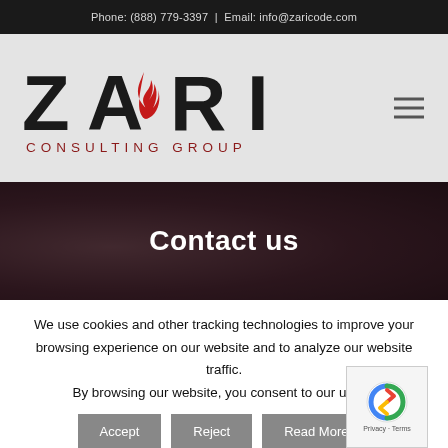Phone: (888) 779-3397 | Email: info@zaricode.com
[Figure (logo): Zari Consulting Group logo with flame icon in red]
Contact us
We use cookies and other tracking technologies to improve your browsing experience on our website and to analyze our website traffic.
By browsing our website, you consent to our use of
[Figure (other): Cookie consent buttons: Accept, Reject, Read More, and reCAPTCHA Privacy-Terms badge]